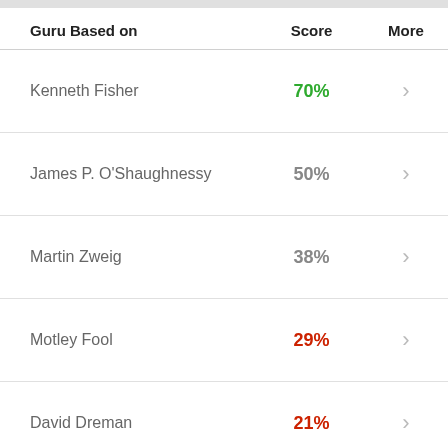| Guru Based on | Score | More |
| --- | --- | --- |
| Kenneth Fisher | 70% | > |
| James P. O'Shaughnessy | 50% | > |
| Martin Zweig | 38% | > |
| Motley Fool | 29% | > |
| David Dreman | 21% | > |